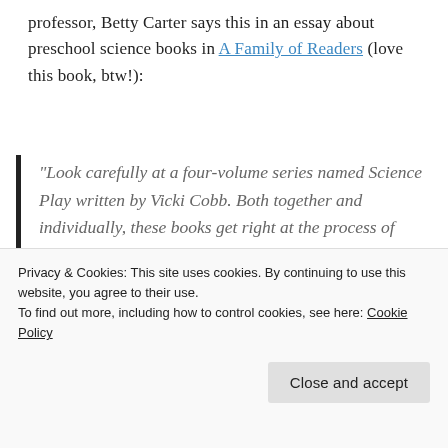professor, Betty Carter says this in an essay about preschool science books in A Family of Readers (love this book, btw!):
“Look carefully at a four-volume series named Science Play written by Vicki Cobb. Both together and individually, these books get right at the process of discovery by asking youngsters to participate in a number of experiments in order to understand scientific principles.”
Privacy & Cookies: This site uses cookies. By continuing to use this website, you agree to their use.
To find out more, including how to control cookies, see here: Cookie Policy